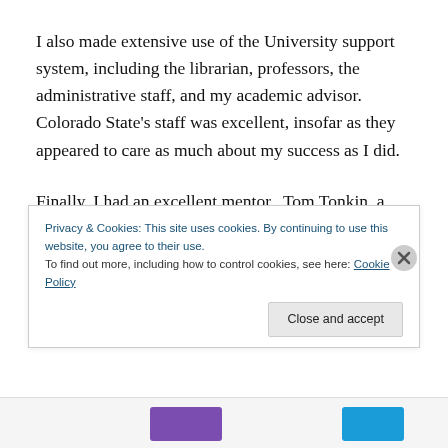I also made extensive use of the University support system, including the librarian, professors, the administrative staff, and my academic advisor.  Colorado State's staff was excellent, insofar as they appeared to care as much about my success as I did.
Finally, I had an excellent mentor.  Tom Tonkin, a friend and colleague of mine was pursuing his doctorate while I was working on my undergraduate degree.  I was able to
Privacy & Cookies: This site uses cookies. By continuing to use this website, you agree to their use.
To find out more, including how to control cookies, see here: Cookie Policy
Close and accept